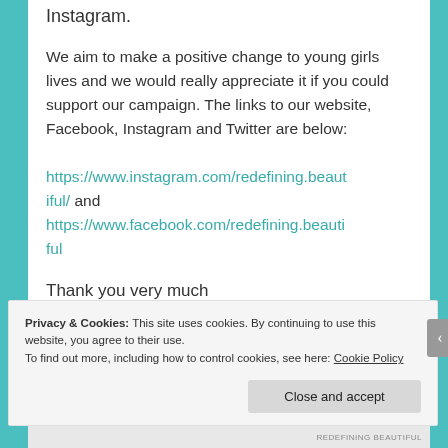Instagram.
We aim to make a positive change to young girls lives and we would really appreciate it if you could support our campaign. The links to our website, Facebook, Instagram and Twitter are below: https://www.instagram.com/redefining.beautiful/ and https://www.facebook.com/redefining.beautiful
Thank you very much
PT
Privacy & Cookies: This site uses cookies. By continuing to use this website, you agree to their use.
To find out more, including how to control cookies, see here: Cookie Policy
Close and accept